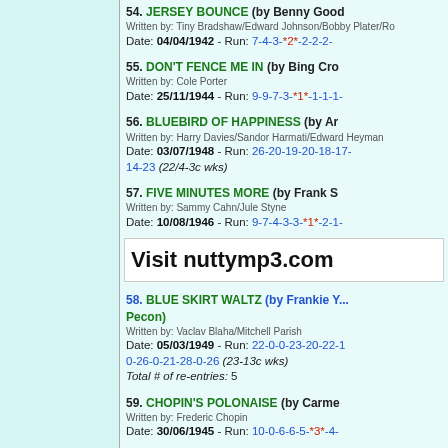54. JERSEY BOUNCE (by Benny Good...) Written by: Tiny Bradshaw/Edward Johnson/Bobby Plater/Ro... Date: 04/04/1942 - Run: 7-4-3-*2*-2-2-2-...
55. DON'T FENCE ME IN (by Bing Cro...) Written by: Cole Porter Date: 25/11/1944 - Run: 9-9-7-3-*1*-1-1-1-...
56. BLUEBIRD OF HAPPINESS (by Ar...) Written by: Harry Davies/Sandor Harmati/Edward Heyman Date: 03/07/1948 - Run: 26-20-19-20-18-17-... 14-23 (22/4-3c wks)
57. FIVE MINUTES MORE (by Frank S...) Written by: Sammy Cahn/Jule Styne Date: 10/08/1946 - Run: 9-7-4-3-3-*1*-2-1-...
[Figure (other): Advertisement box: Visit nuttymp3.com]
58. BLUE SKIRT WALTZ (by Frankie Y... Pecon) Written by: Vaclav Blaha/Mitchell Parish Date: 05/03/1949 - Run: 22-0-0-23-20-22-1... 0-26-0-21-28-0-26 (23-13c wks) Total # of re-entries: 5
59. CHOPIN'S POLONAISE (by Carme...) Written by: Frederic Chopin Date: 30/06/1945 - Run: 10-0-6-6-5-*3*-4-...